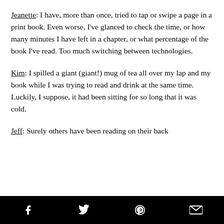Jeanette: I have, more than once, tried to tap or swipe a page in a print book. Even worse, I've glanced to check the time, or how many minutes I have left in a chapter, or what percentage of the book I've read. Too much switching between technologies.
Kim: I spilled a giant (giant!) mug of tea all over my lap and my book while I was trying to read and drink at the same time. Luckily, I suppose, it had been sitting for so long that it was cold.
Jeff: Surely others have been reading on their back
social share bar with facebook, twitter, pinterest, email icons